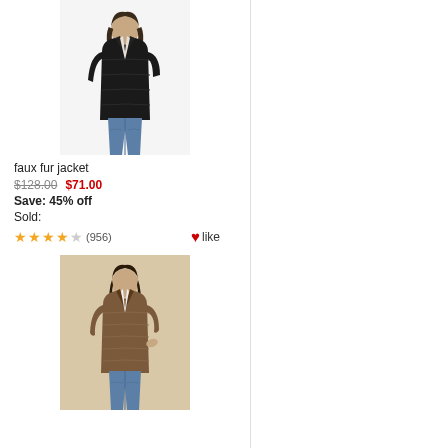[Figure (photo): Woman wearing a black faux fur jacket with blue jeans]
faux fur jacket
$128.00  $71.00
Save: 45% off
Sold:
★★★★☆ (956)  ♥like
[Figure (photo): Woman wearing a brown faux fur jacket with blue jeans]